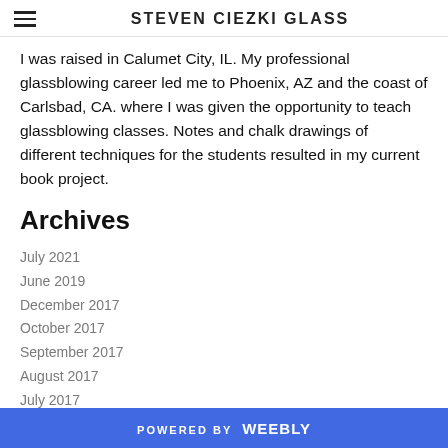STEVEN CIEZKI GLASS
I was raised in Calumet City, IL. My professional glassblowing career led me to Phoenix, AZ and the coast of Carlsbad, CA. where I was given the opportunity to teach glassblowing classes. Notes and chalk drawings of different techniques for the students resulted in my current book project.
Archives
July 2021
June 2019
December 2017
October 2017
September 2017
August 2017
July 2017
POWERED BY weebly